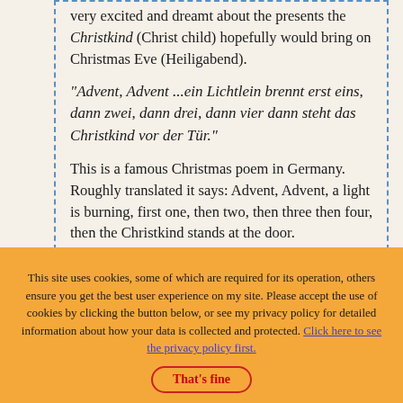very excited and dreamt about the presents the Christkind (Christ child) hopefully would bring on Christmas Eve (Heiligabend).
"Advent, Advent ...ein Lichtlein brennt erst eins, dann zwei, dann drei, dann vier dann steht das Christkind vor der Tür."
This is a famous Christmas poem in Germany. Roughly translated it says: Advent, Advent, a light is burning, first one, then two, then three then four, then the Christkind stands at the door.
This site uses cookies, some of which are required for its operation, others ensure you get the best user experience on my site. Please accept the use of cookies by clicking the button below, or see my privacy policy for detailed information about how your data is collected and protected. Click here to see the privacy policy first.